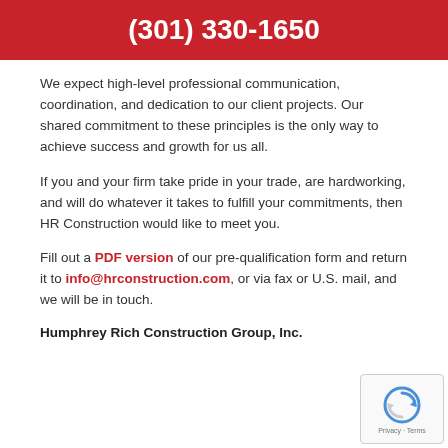(301) 330-1650
We expect high-level professional communication, coordination, and dedication to our client projects. Our shared commitment to these principles is the only way to achieve success and growth for us all.
If you and your firm take pride in your trade, are hardworking, and will do whatever it takes to fulfill your commitments, then HR Construction would like to meet you.
Fill out a PDF version of our pre-qualification form and return it to info@hrconstruction.com, or via fax or U.S. mail, and we will be in touch.
Humphrey Rich Construction Group, Inc.